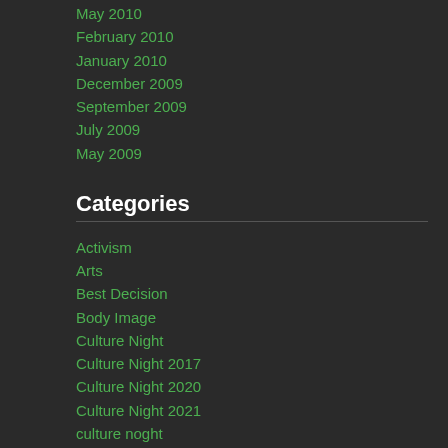May 2010
February 2010
January 2010
December 2009
September 2009
July 2009
May 2009
Categories
Activism
Arts
Best Decision
Body Image
Culture Night
Culture Night 2017
Culture Night 2020
Culture Night 2021
culture noght
Documentary
Entertainment
Events and Organizations
Fitness